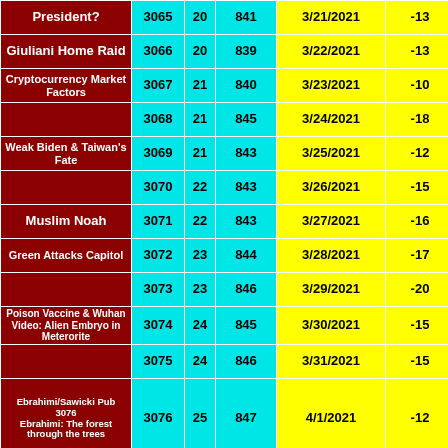| Topic | Ep# | Wk | Total | Date | Diff |
| --- | --- | --- | --- | --- | --- |
| President? | 3065 | 20 | 841 | 3/21/2021 | -13 |
| Giuliani Home Raid | 3066 | 20 | 839 | 3/22/2021 | -13 |
| Cryptocurrency Market Factors | 3067 | 21 | 840 | 3/23/2021 | -10 |
|  | 3068 | 21 | 845 | 3/24/2021 | -18 |
| Weak Biden & Taiwan's Fate | 3069 | 21 | 843 | 3/25/2021 | -12 |
|  | 3070 | 22 | 843 | 3/26/2021 | -15 |
| Muslim Noah | 3071 | 22 | 843 | 3/27/2021 | -16 |
| Green Attacks Capitol | 3072 | 23 | 844 | 3/28/2021 | -17 |
|  | 3073 | 23 | 846 | 3/29/2021 | -20 |
| Poison Vaccine & Wuhan Video: Alien Embryo in Meterorite | 3074 | 24 | 845 | 3/30/2021 | -15 |
|  | 3075 | 24 | 846 | 3/31/2021 | -15 |
| Ebrahimi/Sawicki Pub 3076 Ebrahimi: The forest through the trees | 3076 | 25 | 847 | 4/1/2021 | -12 |
| China Slams Biden on Race | 3077 | 25 | 848 | 4/2/2021 | -12 |
| Mars Perserverance Credibility | 3078 | 26 | 849 | 4/3/2021 | -11 |
|  | 3079 | 26 | 849 | 4/4/2021 | -12 |